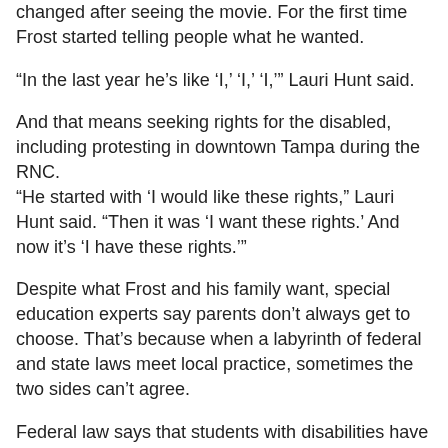changed after seeing the movie. For the first time Frost started telling people what he wanted.
“In the last year he’s like ‘I,’ ‘I,’ ‘I,’” Lauri Hunt said.
And that means seeking rights for the disabled, including protesting in downtown Tampa during the RNC.
“He started with ‘I would like these rights,” Lauri Hunt said. “Then it was ‘I want these rights.’ And now it’s ‘I have these rights.’”
Despite what Frost and his family want, special education experts say parents don’t always get to choose. That’s because when a labyrinth of federal and state laws meet local practice, sometimes the two sides can’t agree.
Federal law says that students with disabilities have a right to a free and appropriate education in the least restrictive environment. Experts say the term means from a separate class to with